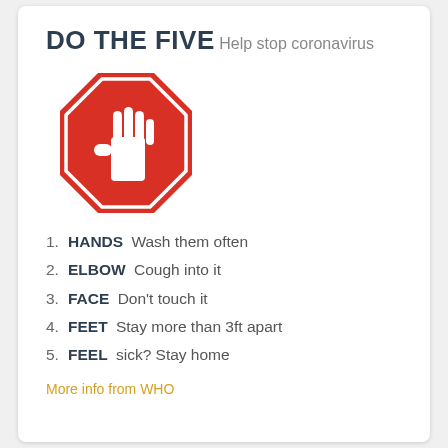DO THE FIVE
Help stop coronavirus
[Figure (illustration): Red octagon stop-sign shape with a white hand icon in the center]
1. HANDS Wash them often
2. ELBOW Cough into it
3. FACE Don't touch it
4. FEET Stay more than 3ft apart
5. FEEL sick? Stay home
More info from WHO